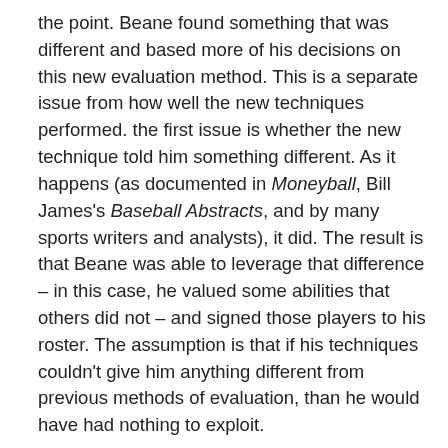the point. Beane found something that was different and based more of his decisions on this new evaluation method. This is a separate issue from how well the new techniques performed. the first issue is whether the new technique told him something different. As it happens (as documented in Moneyball, Bill James's Baseball Abstracts, and by many sports writers and analysts), it did. The result is that Beane was able to leverage that difference – in this case, he valued some abilities that others did not – and signed those players to his roster. The assumption is that if his techniques couldn't give him anything different from previous methods of evaluation, than he would have had nothing to exploit.
The second point is whether the techniques told him something that was correct. And again, the stats did provide him with a metric that has a high correlation with